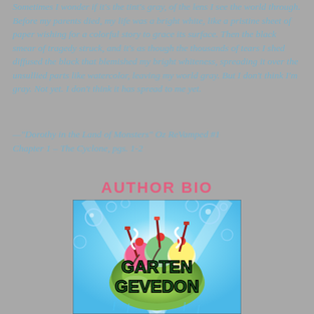Sometimes I wonder if it's the tint's gray, of the lens I see the world through. Before my parents died, my life was a bright white, like a pristine sheet of paper wishing for a colorful story to grace its surface. Then the black smear of tragedy struck, and it's as though the thousands of tears I shed diffused the black that blemished my bright whiteness, spreading it over the unsullied parts like watercolor, leaving my world gray. But I don't think I'm gray. Not yet. I don't think it has spread to me yet.
—"Dorothy in the Land of Monsters" Oz ReVamped #1 Chapter 1 – The Cyclone, pgs. 1-2
AUTHOR BIO
[Figure (photo): Book cover or author logo showing an ice cream sundae world with knives stuck in it, with text 'GARTEN GEVEDON' in large green letters on a blue sky background with bubbles]